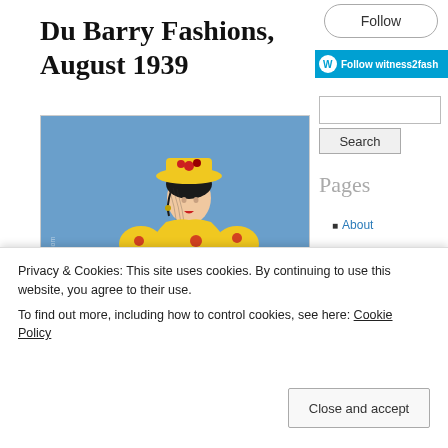Du Barry Fashions, August 1939
[Figure (illustration): Vintage 1939 fashion illustration of a woman wearing a yellow floral dress, yellow hat with red flowers, and holding a red clutch bag, on a blue background. Watermark: witness2fashion.wordpress.com. Bottom shows partial 'PREVUE' text.]
Follow
Follow witness2fash
Pages
About
Policies & Copyright
Archives
A La Recherche
Privacy & Cookies: This site uses cookies. By continuing to use this website, you agree to their use.
To find out more, including how to control cookies, see here: Cookie Policy
Close and accept
FREE FASHION FORECAST